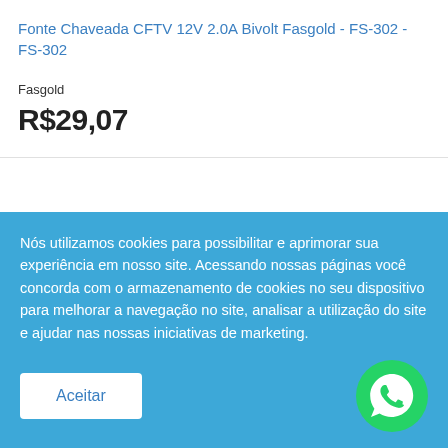Fonte Chaveada CFTV 12V 2.0A Bivolt Fasgold - FS-302 - FS-302
Fasgold
R$29,07
Nós utilizamos cookies para possibilitar e aprimorar sua experiência em nosso site. Acessando nossas páginas você concorda com o armazenamento de cookies no seu dispositivo para melhorar a navegação no site, analisar a utilização do site e ajudar nas nossas iniciativas de marketing.
Aceitar